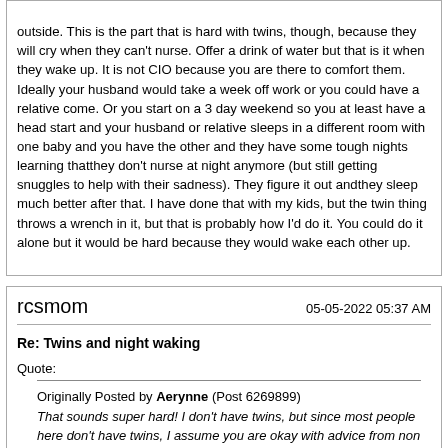outside. This is the part that is hard with twins, though, because they will cry when they can't nurse. Offer a drink of water but that is it when they wake up. It is not CIO because you are there to comfort them. Ideally your husband would take a week off work or you could have a relative come. Or you start on a 3 day weekend so you at least have a head start and your husband or relative sleeps in a different room with one baby and you have the other and they have some tough nights learning thatthey don't nurse at night anymore (but still getting snuggles to help with their sadness). They figure it out andthey sleep much better after that. I have done that with my kids, but the twin thing throws a wrench in it, but that is probably how I'd do it. You could do it alone but it would be hard because they would wake each other up.
rcsmom
05-05-2022 05:37 AM
Re: Twins and night waking
Quote:
Originally Posted by Aerynne (Post 6269899) That sounds super hard! I don't have twins, but since most people here don't have twins, I assume you are okay with advice from non twin moms. 22 months is old enough to night wean. I would teach them the difference between light outside and dark outside by remarking on it when you can. Make sure they eat and drink well right before bed. Then teach them that we only nurse when it is light outside. This is the part that is hard with twins, though, because they will cry